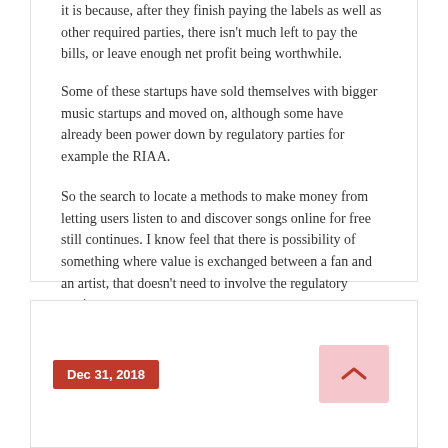it is because, after they finish paying the labels as well as other required parties, there isn't much left to pay the bills, or leave enough net profit being worthwhile.
Some of these startups have sold themselves with bigger music startups and moved on, although some have already been power down by regulatory parties for example the RIAA.
So the search to locate a methods to make money from letting users listen to and discover songs online for free still continues. I know feel that there is possibility of something where value is exchanged between a fan and an artist, that doesn't need to involve the regulatory parties.
More information about music 2019 please visit resource: click site.
Dec 31, 2018